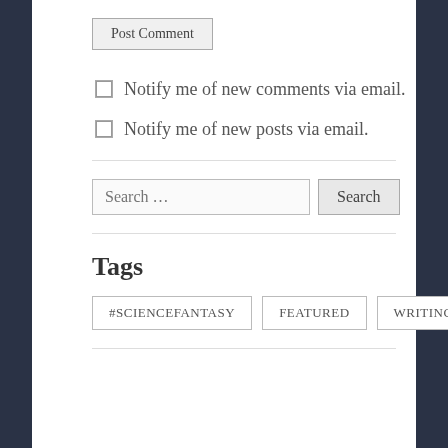Post Comment
Notify me of new comments via email.
Notify me of new posts via email.
Search …
Tags
#SCIENCEFANTASY
FEATURED
WRITING